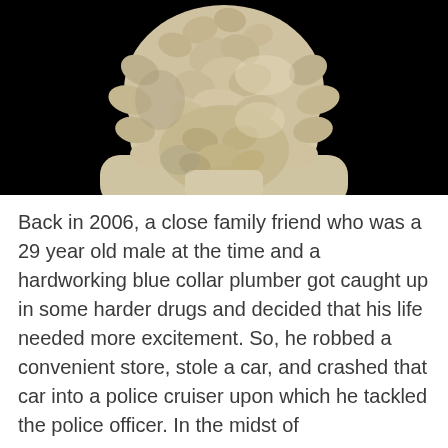[Figure (photo): A marble or plaster classical bust sculpture of a bearded man with curly hair, photographed from behind/side against a black background, showing the back of the head and neck with intricate curling hair and beard detail.]
Back in 2006, a close family friend who was a 29 year old male at the time and a hardworking blue collar plumber got caught up in some harder drugs and decided that his life needed more excitement. So, he robbed a convenient store, stole a car, and crashed that car into a police cruiser upon which he tackled the police officer. In the midst of something the something something he added his...